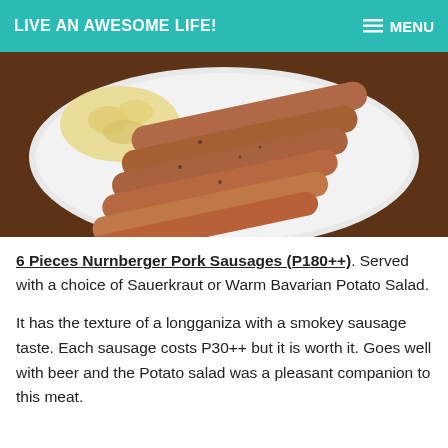LIVE AN AWESOME LIFE!  MENU
[Figure (photo): Photo of 6 Nurnberger pork sausages on a white plate with potato salad on a wooden table background]
6 Pieces Nurnberger Pork Sausages (P180++). Served with a choice of Sauerkraut or Warm Bavarian Potato Salad.
It has the texture of a longganiza with a smokey sausage taste. Each sausage costs P30++ but it is worth it. Goes well with beer and the Potato salad was a pleasant companion to this meat.